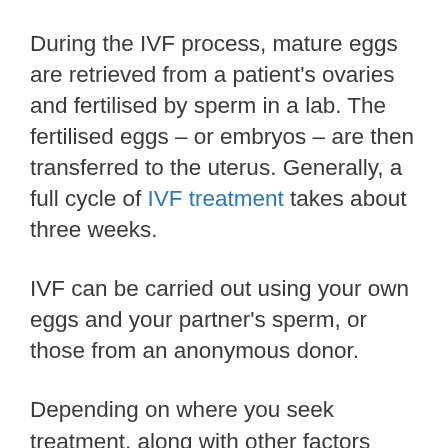During the IVF process, mature eggs are retrieved from a patient's ovaries and fertilised by sperm in a lab. The fertilised eggs – or embryos – are then transferred to the uterus. Generally, a full cycle of IVF treatment takes about three weeks.
IVF can be carried out using your own eggs and your partner's sperm, or those from an anonymous donor.
Depending on where you seek treatment, along with other factors such as age and cause of infertility, IVF can be invasive, costly and time-consuming. However, IVF is generally regarded as the most effective form of assisted reproductive technology.